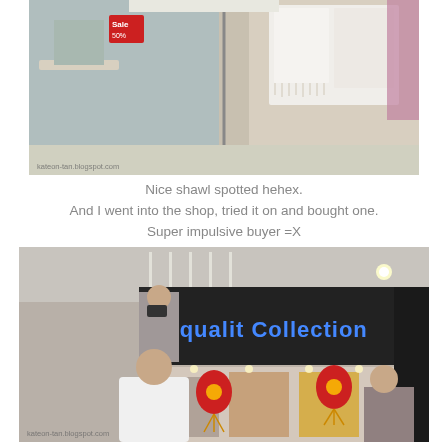[Figure (photo): Indoor mall scene showing clothing shop exterior with a white shawl/wrap hanging on a rack on the right side, mannequins or display stands in the background, and a 'Sale 50%' sign visible on the left. Watermark: kateon-tan.blogspot.com]
Nice shawl spotted hehex.
And I went into the shop, tried it on and bought one.
Super impulsive buyer =X
[Figure (photo): Interior of a shopping mall showing the storefront of 'Equalit Collection' store with blue LED signage, Chinese New Year lantern decorations, clothing racks visible inside, shoppers browsing. A person on the left is taking a photo with a camera. Watermark: kateon-tan.blogspot.com]